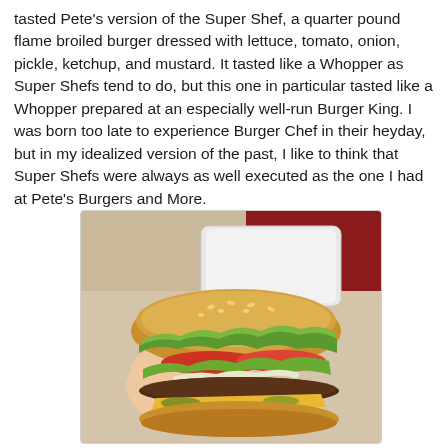tasted Pete's version of the Super Shef, a quarter pound flame broiled burger dressed with lettuce, tomato, onion, pickle, ketchup, and mustard. It tasted like a Whopper as Super Shefs tend to do, but this one in particular tasted like a Whopper prepared at an especially well-run Burger King. I was born too late to experience Burger Chef in their heyday, but in my idealized version of the past, I like to think that Super Shefs were always as well executed as the one I had at Pete's Burgers and More.
[Figure (photo): A hand holding a large burger resembling a Whopper/Super Shef with lettuce, tomato, onion, pickle, and cheese on a sesame seed bun, with a white styrofoam container visible in the background on a table.]